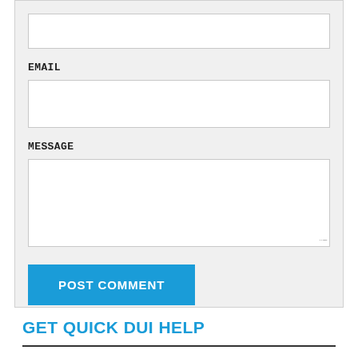[Figure (screenshot): Web form with EMAIL label, input box, MESSAGE label, textarea, and POST COMMENT button on grey background]
GET QUICK DUI HELP
Use this contact form if you are facing a DUI and want to talk with me about your case, your rights and your options.